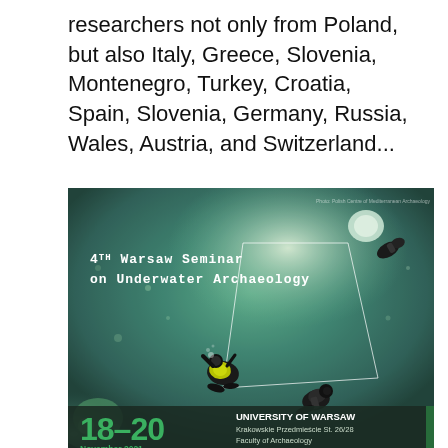researchers not only from Poland, but also Italy, Greece, Slovenia, Montenegro, Turkey, Croatia, Spain, Slovenia, Germany, Russia, Wales, Austria, and Switzerland...
[Figure (photo): Aerial/top-down underwater photo showing three scuba divers working at an archaeological excavation site underwater, with a square grid marked by ropes. Text overlay reads '4th Warsaw Seminar on Underwater Archaeology'. Bottom bar shows '18-20 November 2021', 'UNIVERSITY OF WARSAW, Krakowskie Przedmieście St. 26/28, Faculty of Archaeology'.]